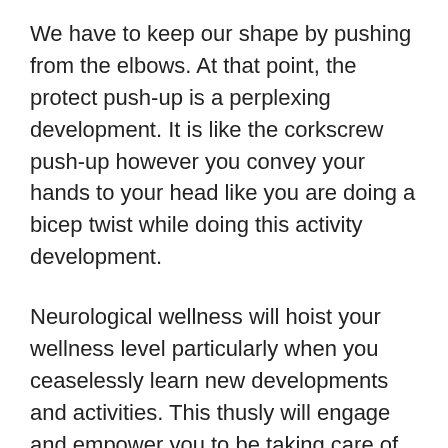We have to keep our shape by pushing from the elbows. At that point, the protect push-up is a perplexing development. It is like the corkscrew push-up however you convey your hands to your head like you are doing a bicep twist while doing this activity development.
Neurological wellness will hoist your wellness level particularly when you ceaselessly learn new developments and activities. This thusly will engage and empower you to be taking care of business. People can go to the professionals to get the best support and tips related to neuro care. These are a number of professionals are available who can provide you better treatment and services. You just need to tell them your neurological condition and they will help you in an appropriate way.